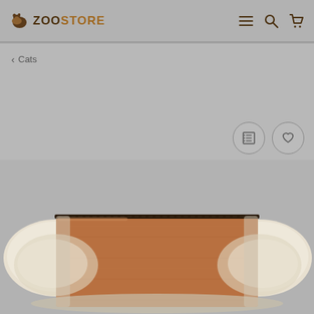[Figure (screenshot): ZooStore website header with logo, hamburger menu, search, and cart icons]
< Cats
[Figure (photo): Cat bed/cushion product photo showing a beige and brown suede cat sleeping mat/pad with cream sherpa sides, photographed on grey background]